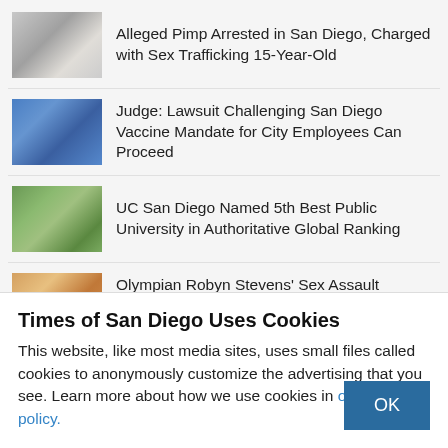Alleged Pimp Arrested in San Diego, Charged with Sex Trafficking 15-Year-Old
Judge: Lawsuit Challenging San Diego Vaccine Mandate for City Employees Can Proceed
UC San Diego Named 5th Best Public University in Authoritative Global Ranking
Olympian Robyn Stevens' Sex Assault Allegations Spur Lifetime Ban of Ex-Coronado Coach
Jack Owuor, 25, Sentenced in $2M Grandparent Fraud Scam Targeting Elderly Victims in San
Times of San Diego Uses Cookies
This website, like most media sites, uses small files called cookies to anonymously customize the advertising that you see. Learn more about how we use cookies in our cookie policy.